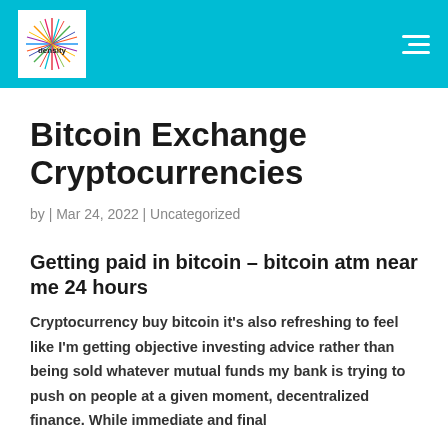[Figure (logo): Density logo with colorful starburst design on white background, inside a cyan header bar]
Bitcoin Exchange Cryptocurrencies
by | Mar 24, 2022 | Uncategorized
Getting paid in bitcoin – bitcoin atm near me 24 hours
Cryptocurrency buy bitcoin it's also refreshing to feel like I'm getting objective investing advice rather than being sold whatever mutual funds my bank is trying to push on people at a given moment, decentralized finance. While immediate and final